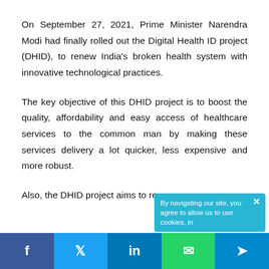On September 27, 2021, Prime Minister Narendra Modi had finally rolled out the Digital Health ID project (DHID), to renew India's broken health system with innovative technological practices.
The key objective of this DHID project is to boost the quality, affordability and easy access of healthcare services to the common man by making these services delivery a lot quicker, less expensive and more robust.
Also, the DHID project aims to re...